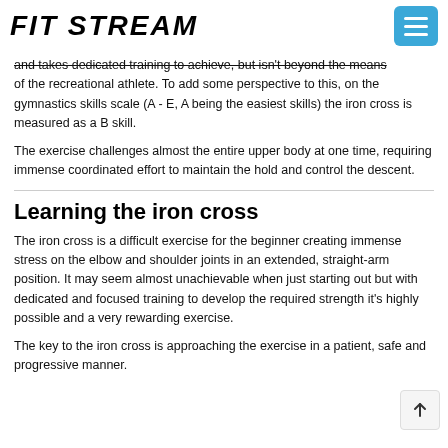FIT STREAM
and takes dedicated training to achieve, but isn't beyond the means of the recreational athlete. To add some perspective to this, on the gymnastics skills scale (A - E, A being the easiest skills) the iron cross is measured as a B skill.
The exercise challenges almost the entire upper body at one time, requiring immense coordinated effort to maintain the hold and control the descent.
Learning the iron cross
The iron cross is a difficult exercise for the beginner creating immense stress on the elbow and shoulder joints in an extended, straight-arm position. It may seem almost unachievable when just starting out but with dedicated and focused training to develop the required strength it's highly possible and a very rewarding exercise.
The key to the iron cross is approaching the exercise in a patient, safe and progressive manner.